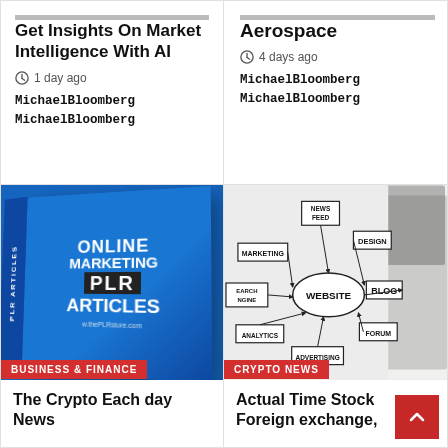Get Insights On Market Intelligence With AI
1 day ago
MichaelBloomberg
MichaelBloomberg
Aerospace
4 days ago
MichaelBloomberg
MichaelBloomberg
[Figure (photo): Blue book cover: Online Marketing PLR Articles from thePLRstore.com]
BUSINESS & FINANCE
The Crypto Each day News
[Figure (illustration): Website diagram showing nodes: NEWS FEED, MARKETING, DESIGN, SEARCH ENGINE, WEBSITE (center), BLOG, ANALYTICS, ADVERTISING, FORUM — connected by arrows. A person in a suit is drawing on a whiteboard.]
CRYPTO NEWS
Actual Time Stock Foreign exchange,